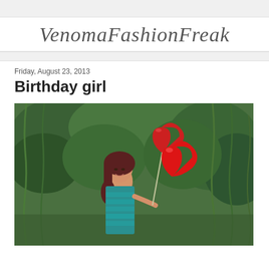Venoma Fashion Freak
Friday, August 23, 2013
Birthday girl
[Figure (photo): A young woman with long dark red hair wearing a teal blue fringe/tiered dress, smiling and holding three red heart-shaped balloons on a stick, standing outdoors in front of green weeping willow or pine trees.]